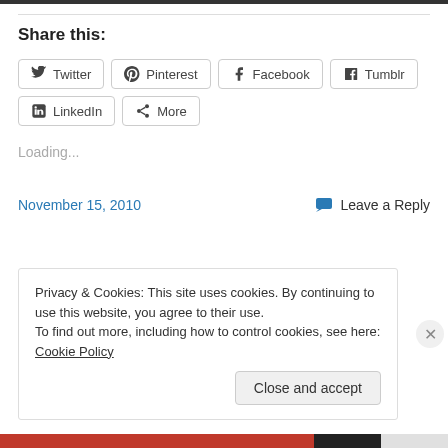Share this:
Twitter
Pinterest
Facebook
Tumblr
LinkedIn
More
Loading...
November 15, 2010
Leave a Reply
Privacy & Cookies: This site uses cookies. By continuing to use this website, you agree to their use.
To find out more, including how to control cookies, see here: Cookie Policy